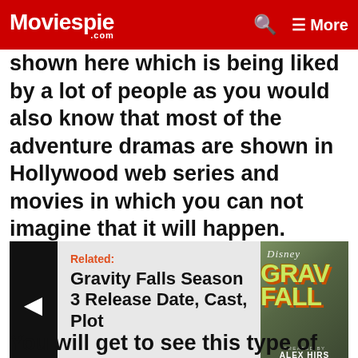Moviespie .com | Search | More
shown here which is being liked by a lot of people as you would also know that most of the adventure dramas are shown in Hollywood web series and movies in which you can not imagine that it will happen.
[Figure (other): Related content card with arrow, text 'Related: Gravity Falls Season 3 Release Date, Cast, Plot' and Gravity Falls show image with Disney logo and CREATED BY ALEX HIRSCH credit]
You will get to see this type of scene in this web